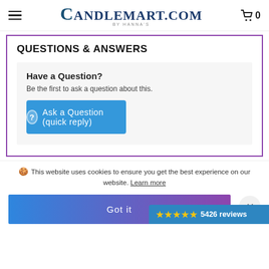CANDLEMART.COM by HANNA'S
QUESTIONS & ANSWERS
Have a Question?
Be the first to ask a question about this.
Ask a Question (quick reply)
🍪 This website uses cookies to ensure you get the best experience on our website. Learn more
Got it
★★★★★ 5426 reviews